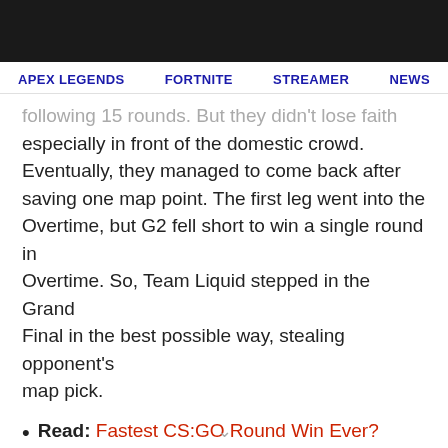APEX LEGENDS   FORTNITE   STREAMER   NEWS
following 15 rounds. But they didn't lose faith especially in front of the domestic crowd. Eventually, they managed to come back after saving one map point. The first leg went into the Overtime, but G2 fell short to win a single round in Overtime. So, Team Liquid stepped in the Grand Final in the best possible way, stealing opponent's map pick.
Read: Fastest CS:GO Round Win Ever? Team CR4ZY Wins in 7 Seconds
The second leg on Overpass was just too easy to